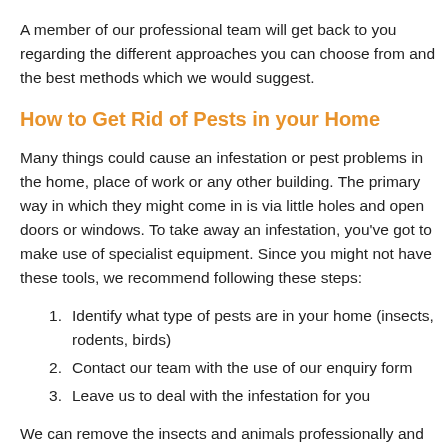A member of our professional team will get back to you regarding the different approaches you can choose from and the best methods which we would suggest.
How to Get Rid of Pests in your Home
Many things could cause an infestation or pest problems in the home, place of work or any other building. The primary way in which they might come in is via little holes and open doors or windows. To take away an infestation, you've got to make use of specialist equipment. Since you might not have these tools, we recommend following these steps:
Identify what type of pests are in your home (insects, rodents, birds)
Contact our team with the use of our enquiry form
Leave us to deal with the infestation for you
We can remove the insects and animals professionally and effectively, therefore don't hesitate to contact us.
Regardless of the size or kind of infestation, we can remove the